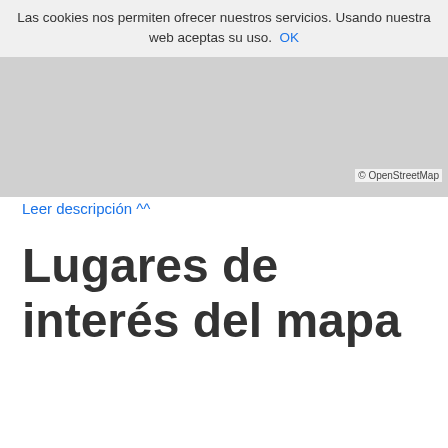Las cookies nos permiten ofrecer nuestros servicios. Usando nuestra web aceptas su uso. OK
[Figure (map): Map area showing a geographic region, partially visible, with OpenStreetMap attribution]
© OpenStreetMap
Leer descripción ^^
Lugares de interés del mapa